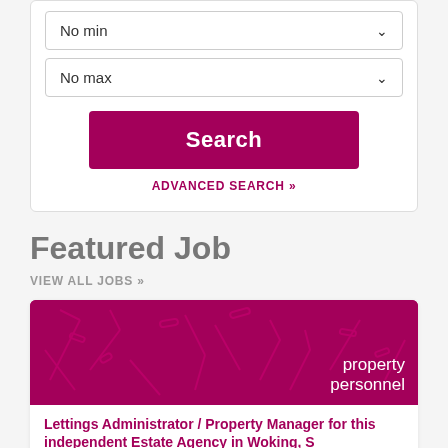No min
No max
Search
ADVANCED SEARCH »
Featured Job
VIEW ALL JOBS »
[Figure (logo): Property Personnel logo on magenta/crimson background with decorative abstract line pattern]
Lettings Administrator / Property Manager for this independent Estate Agency in Woking, S...